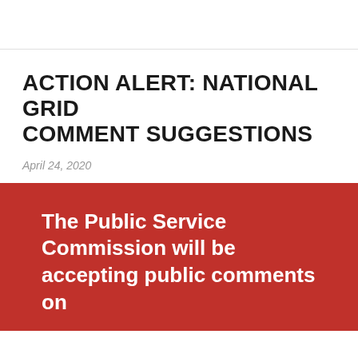ACTION ALERT: NATIONAL GRID COMMENT SUGGESTIONS
April 24, 2020
The Public Service Commission will be accepting public comments on